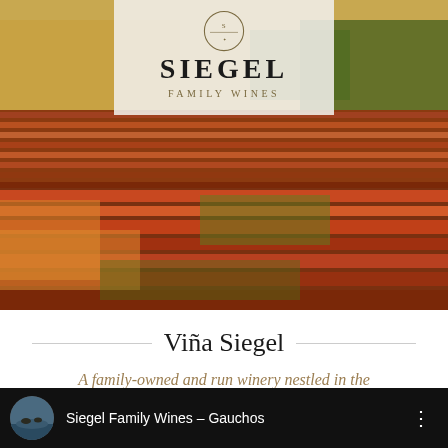[Figure (photo): Aerial/landscape photograph of a winery vineyard in autumn colors — rows of red and orange grapevines extending into rolling hills with trees and farmland in the background. A semi-transparent white logo box overlays the top-center showing the Siegel Family Wines emblem, 'SIEGEL' in bold serif, and 'FAMILY WINES' in spaced small caps below.]
Viña Siegel
A family-owned and run winery nestled in the foothills of the Andes
[Figure (screenshot): Video thumbnail bar at the bottom with a black background, a circular thumbnail image on the left showing ducks/birds on water, followed by the text 'Siegel Family Wines - Gauchos' in white on the right, with a vertical three-dot menu icon.]